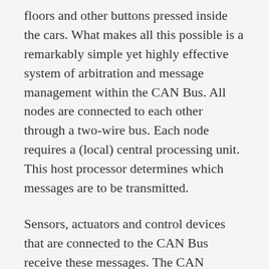floors and other buttons pressed inside the cars. What makes all this possible is a remarkably simple yet highly effective system of arbitration and message management within the CAN Bus. All nodes are connected to each other through a two-wire bus. Each node requires a (local) central processing unit. This host processor determines which messages are to be transmitted.
Sensors, actuators and control devices that are connected to the CAN Bus receive these messages. The CAN controller, which may be part of the microcontroller, stores the received bits that the bus conveys, until the message is complete. Then it becomes available to the host processor.
All nodes are capable of sending and receiving messages, but this would be receiving the most